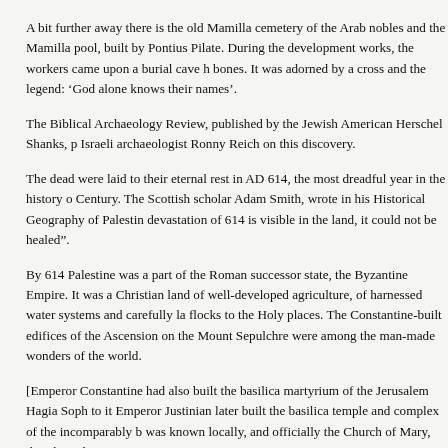A bit further away there is the old Mamilla cemetery of the Arab nobles and the Mamilla pool, built by Pontius Pilate. During the development works, the workers came upon a burial cave holding 10,000 bones. It was adorned by a cross and the legend: ‘God alone knows their names’.
The Biblical Archaeology Review, published by the Jewish American Herschel Shanks, published Israeli archaeologist Ronny Reich on this discovery.
The dead were laid to their eternal rest in AD 614, the most dreadful year in the history of the 7th Century. The Scottish scholar Adam Smith, wrote in his Historical Geography of Palestine, ‘The devastation of 614 is visible in the land, it could not be healed”.
By 614 Palestine was a part of the Roman successor state, the Byzantine Empire. It was a prosperous Christian land of well-developed agriculture, of harnessed water systems and carefully laid roads for flocks to the Holy places. The Constantine-built edifices of the Ascension on the Mount and the Holy Sepulchre were among the man-made wonders of the world.
[Emperor Constantine had also built the basilica martyrium of the Jerusalem Hagia Sophia. Adjacent to it Emperor Justinian later built the basilica temple and complex of the incomparably beautiful Nea, as it was known locally, and officially the Church of Mary, the Theotokos.
The Nea Church complex included a 3,000 bed charitable hospital, in the modern sense, staffed with monastic physicians, nurses and pharmacists, an extensive library, and a 2,000 bed pilgrim hostel. All completely destroyed, reduced to rubble by the Jews.]
The Judean wilderness was enlivened by eighty monasteries, where precious manuscripts were copied and offered. The Fathers of the church, St Jerome of Bethlehem and Origen and Eusebius of Caesarea, blessed memory. One of the best Palestinian writers, on a par with the Minor Prophets, blessed M